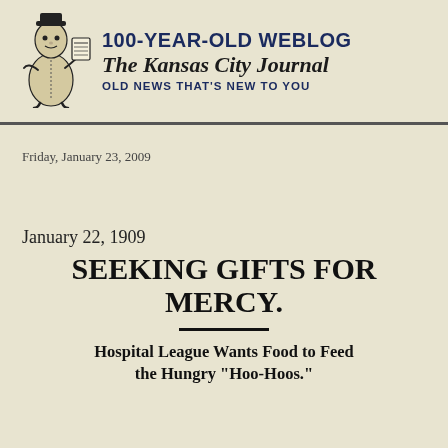[Figure (illustration): Cartoon mascot figure of a person in old-fashioned outfit holding a newspaper, black and white illustration]
100-Year-Old Weblog The Kansas City Journal OLD NEWS THAT'S NEW TO YOU
Friday, January 23, 2009
January 22, 1909
SEEKING GIFTS FOR MERCY.
Hospital League Wants Food to Feed the Hungry "Hoo-Hoos."